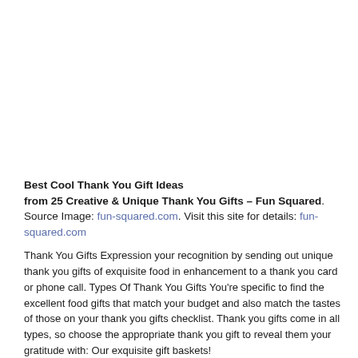Best Cool Thank You Gift Ideas from 25 Creative & Unique Thank You Gifts – Fun Squared. Source Image: fun-squared.com. Visit this site for details: fun-squared.com
Thank You Gifts Expression your recognition by sending out unique thank you gifts of exquisite food in enhancement to a thank you card or phone call. Types Of Thank You Gifts You're specific to find the excellent food gifts that match your budget and also match the tastes of those on your thank you gifts checklist. Thank you gifts come in all types, so choose the appropriate thank you gift to reveal them your gratitude with: Our exquisite gift baskets!